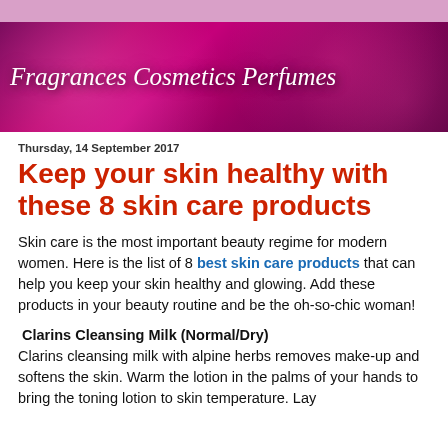[Figure (illustration): Banner image for blog 'Fragrances Cosmetics Perfumes' with pink and magenta bokeh and cosmetics background]
Thursday, 14 September 2017
Keep your skin healthy with these 8 skin care products
Skin care is the most important beauty regime for modern women. Here is the list of 8 best skin care products that can help you keep your skin healthy and glowing. Add these products in your beauty routine and be the oh-so-chic woman!
Clarins Cleansing Milk (Normal/Dry)
Clarins cleansing milk with alpine herbs removes make-up and softens the skin. Warm the lotion in the palms of your hands to bring the toning lotion to skin temperature. Lay hands flat on face and lift hands off quickly. Repeat 5-6 ti...